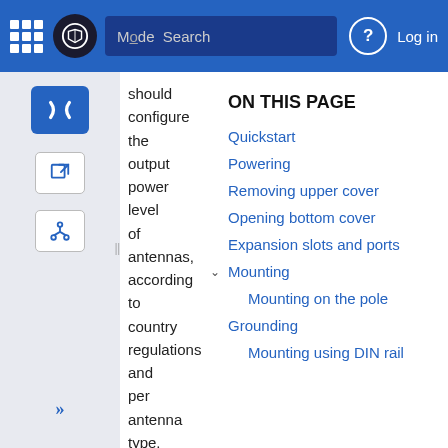Mode Search | Log in
should configure the output power level of antennas, according to country regulations and per antenna type. Professional installation is required
ON THIS PAGE
Quickstart
Powering
Removing upper cover
Opening bottom cover
Expansion slots and ports
Mounting
Mounting on the pole
Grounding
Mounting using DIN rail